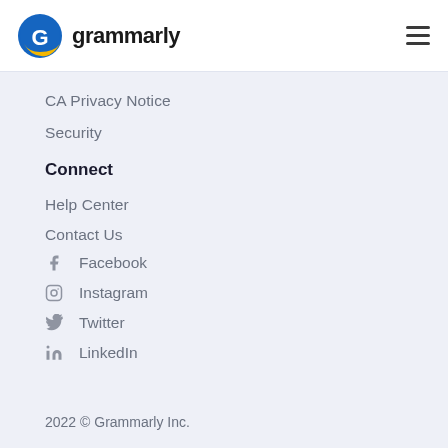grammarly
CA Privacy Notice
Security
Connect
Help Center
Contact Us
Facebook
Instagram
Twitter
LinkedIn
2022 © Grammarly Inc.